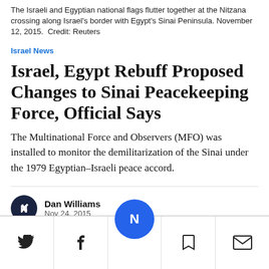The Israeli and Egyptian national flags flutter together at the Nitzana crossing along Israel's border with Egypt's Sinai Peninsula. November 12, 2015.  Credit: Reuters
Israel News
Israel, Egypt Rebuff Proposed Changes to Sinai Peacekeeping Force, Official Says
The Multinational Force and Observers (MFO) was installed to monitor the demilitarization of the Sinai under the 1979 Egyptian–Israeli peace accord.
Dan Williams
Nov 24, 2015